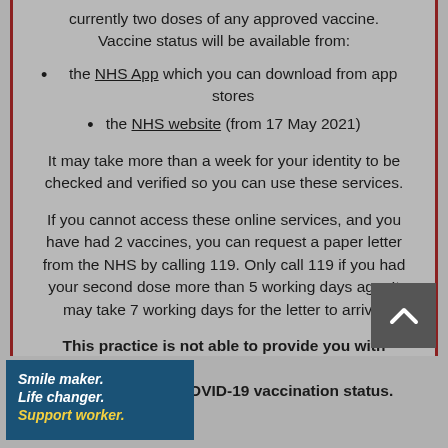currently two doses of any approved vaccine. Vaccine status will be available from:
the NHS App which you can download from app stores
the NHS website (from 17 May 2021)
It may take more than a week for your identity to be checked and verified so you can use these services.
If you cannot access these online services, and you have had 2 vaccines, you can request a paper letter from the NHS by calling 119. Only call 119 if you had your second dose more than 5 working days ago. It may take 7 working days for the letter to arrive.
This practice is not able to provide you with a [letter] that shows your COVID-19 vaccination status.
[Figure (other): Dark grey scroll-to-top button with upward chevron arrow]
[Figure (other): NHS support worker recruitment advertisement banner: Smile maker. Life changer. Support worker. on dark blue background with yellow text for Support worker.]